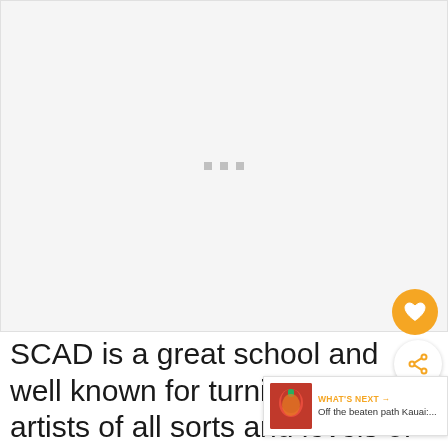[Figure (other): Advertisement placeholder with three grey dots in the center on a light grey background]
[Figure (other): Heart/favorite button (orange circle with heart icon) and share button (white circle with share icon), plus a 'What's Next' widget showing a thumbnail image and text 'Off the beaten path Kauai:...']
SCAD is a great school and well known for turning out artists of all sorts and levels of notoriety. If you've got high school a… want to plan a college visit, spending a day